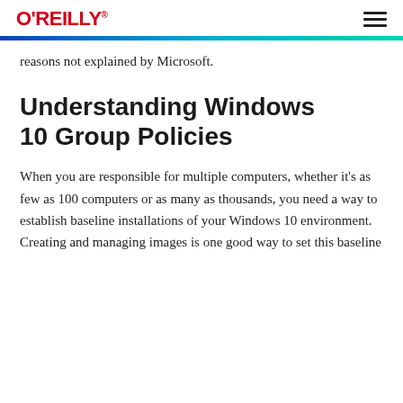O'REILLY
reasons not explained by Microsoft.
Understanding Windows 10 Group Policies
When you are responsible for multiple computers, whether it's as few as 100 computers or as many as thousands, you need a way to establish baseline installations of your Windows 10 environment. Creating and managing images is one good way to set this baseline